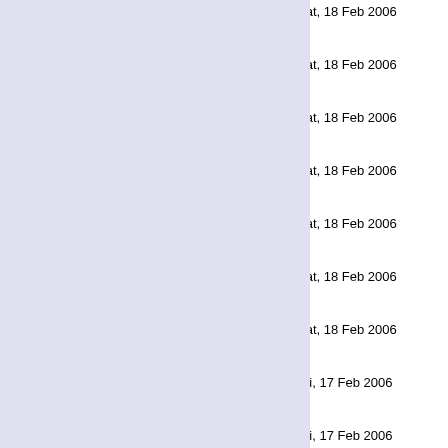| Grid Ref | Title | Date | Type | Description |
| --- | --- | --- | --- | --- |
| ST8483 | St. Giles Church, Alderton | Sat, 18 Feb 2006 | Geograph | fi p tp |
| ST8382 | Alderton Duck Pond, with Black Swan | Sat, 18 Feb 2006 | Geograph | fi p tp |
| ST8582 | Fosse Lodge and Chapel | Sat, 18 Feb 2006 | Geograph | fi p tp |
| ST8879 | St. Margaret's Church, Leigh Delamere | Sat, 18 Feb 2006 | Geograph | fi p tp |
| ST9383 | The Road to Startley | Sat, 18 Feb 2006 | Geograph | fi p tp |
| ST8277 | Nettleton Methodist Church | Sat, 18 Feb 2006 | Geograph | fi p tp |
| ST8177 | Church of St Mary the Virgin, West Kington | Sat, 18 Feb 2006 | Geograph | fi p tp |
| ST8877 | Manor Farm, Easton Piercy | Fri, 17 Feb 2006 | Geograph | fi p tp |
| ST8977 | Lower Easton Piercy Farm | Fri, 17 Feb 2006 | Geograph | fi p tp |
| ST9077 | Church of St. Michael & All Angels, Kington St. Michael | Fri, 17 Feb 2006 | Geograph | fi p tp |